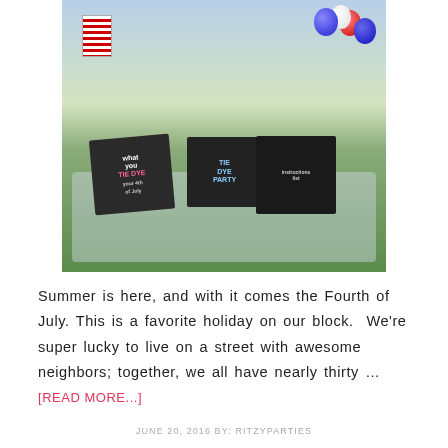[Figure (photo): Outdoor Fourth of July tie-dye party table with chalkboard signs reading 'TIE DYE your 4th of July', 'TIE DYE PARTY', and instruction sign. Red, white, blue balloons and American flag in background.]
Summer is here, and with it comes the Fourth of July. This is a favorite holiday on our block.  We're super lucky to live on a street with awesome neighbors; together, we all have nearly thirty …
[READ MORE...]
JUNE 20, 2016 BY: RITZYPARTIES